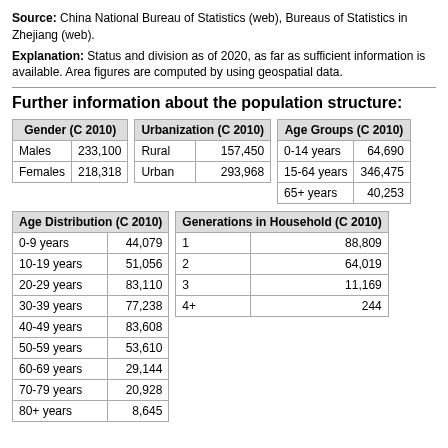Source: China National Bureau of Statistics (web), Bureaus of Statistics in Zhejiang (web).
Explanation: Status and division as of 2020, as far as sufficient information is available. Area figures are computed by using geospatial data.
Further information about the population structure:
| Gender (C 2010) |  |
| --- | --- |
| Males | 233,100 |
| Females | 218,318 |
| Urbanization (C 2010) |  |
| --- | --- |
| Rural | 157,450 |
| Urban | 293,968 |
| Age Groups (C 2010) |  |
| --- | --- |
| 0-14 years | 64,690 |
| 15-64 years | 346,475 |
| 65+ years | 40,253 |
| Age Distribution (C 2010) |  |
| --- | --- |
| 0-9 years | 44,079 |
| 10-19 years | 51,056 |
| 20-29 years | 83,110 |
| 30-39 years | 77,238 |
| 40-49 years | 83,608 |
| 50-59 years | 53,610 |
| 60-69 years | 29,144 |
| 70-79 years | 20,928 |
| 80+ years | 8,645 |
| Generations in Household (C 2010) |  |
| --- | --- |
| 1 | 88,809 |
| 2 | 64,019 |
| 3 | 11,169 |
| 4+ | 244 |